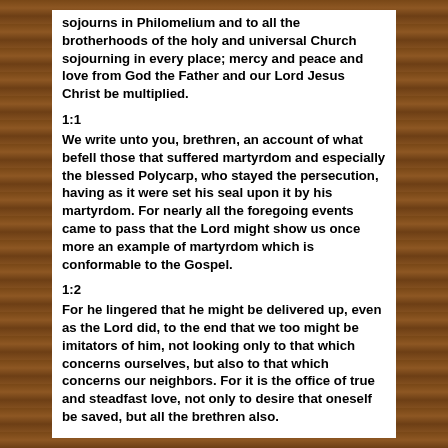sojourns in Philomelium and to all the brotherhoods of the holy and universal Church sojourning in every place; mercy and peace and love from God the Father and our Lord Jesus Christ be multiplied.
1:1
We write unto you, brethren, an account of what befell those that suffered martyrdom and especially the blessed Polycarp, who stayed the persecution, having as it were set his seal upon it by his martyrdom. For nearly all the foregoing events came to pass that the Lord might show us once more an example of martyrdom which is conformable to the Gospel.
1:2
For he lingered that he might be delivered up, even as the Lord did, to the end that we too might be imitators of him, not looking only to that which concerns ourselves, but also to that which concerns our neighbors. For it is the office of true and steadfast love, not only to desire that oneself be saved, but all the brethren also.
2:1